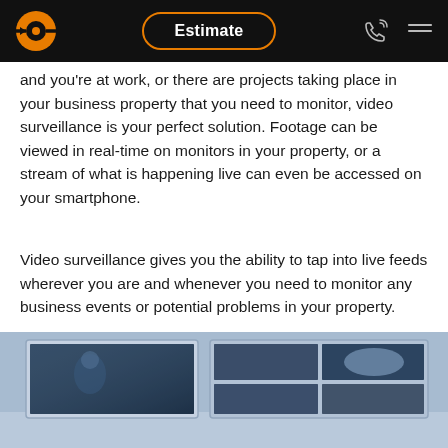Estimate
and you're at work, or there are projects taking place in your business property that you need to monitor, video surveillance is your perfect solution. Footage can be viewed in real-time on monitors in your property, or a stream of what is happening live can even be accessed on your smartphone.
Video surveillance gives you the ability to tap into live feeds wherever you are and whenever you need to monitor any business events or potential problems in your property.
[Figure (photo): Security camera surveillance monitors showing multiple CCTV feeds, blue-toned image of several monitor screens mounted on a wall]